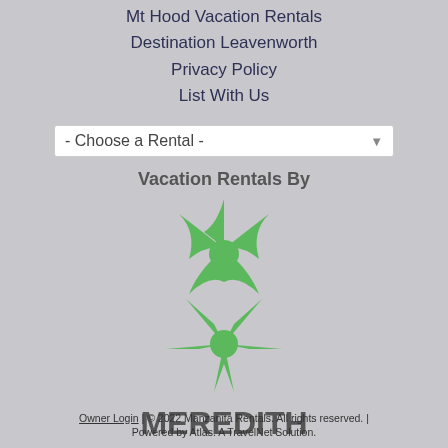Mt Hood Vacation Rentals
Destination Leavenworth
Privacy Policy
List With Us
- Choose a Rental -
[Figure (logo): Meredith Lodging logo with green starfish and bold gray text reading MEREDITH LODGING, above text Vacation Rentals By]
Owner Login | © 2022 Manzanita Rentals. All rights reserved. | Powered by Atlas. A TravelNet Solution.